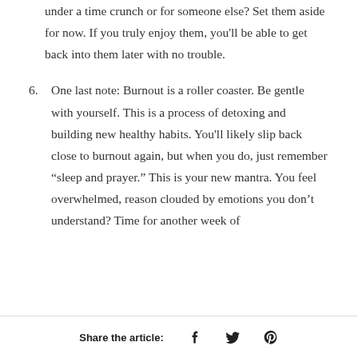under a time crunch or for someone else? Set them aside for now. If you truly enjoy them, you'll be able to get back into them later with no trouble.
6. One last note: Burnout is a roller coaster. Be gentle with yourself. This is a process of detoxing and building new healthy habits. You'll likely slip back close to burnout again, but when you do, just remember “sleep and prayer.” This is your new mantra. You feel overwhelmed, reason clouded by emotions you don't understand? Time for another week of
Share the article: